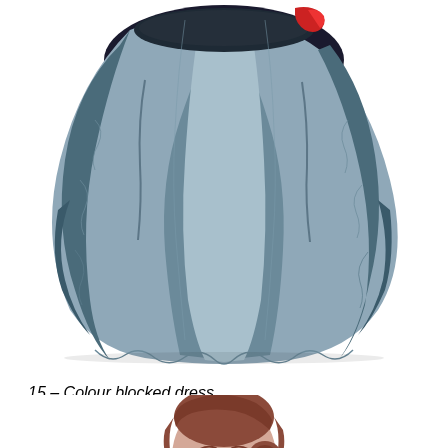[Figure (photo): Close-up photo of a grey/blue colour-blocked circle skirt dress, showing the full skirt spread out from the waist down, with a small red detail visible at the top right. White background.]
15 – Colour blocked dress.
[Figure (photo): Portrait photo of a smiling woman with reddish-brown hair pulled back, wearing a grey V-neck button-front cardigan/top. White background, cropped at approximately chest/torso level.]